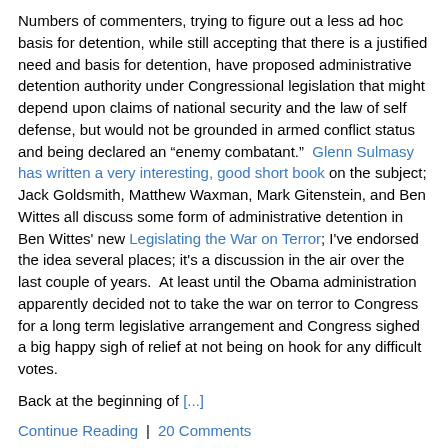Numbers of commenters, trying to figure out a less ad hoc basis for detention, while still accepting that there is a justified need and basis for detention, have proposed administrative detention authority under Congressional legislation that might depend upon claims of national security and the law of self defense, but would not be grounded in armed conflict status and being declared an “enemy combatant.”  Glenn Sulmasy has written a very interesting, good short book on the subject; Jack Goldsmith, Matthew Waxman, Mark Gitenstein, and Ben Wittes all discuss some form of administrative detention in Ben Wittes' new Legislating the War on Terror; I've endorsed the idea several places; it's a discussion in the air over the last couple of years.  At least until the Obama administration apparently decided not to take the war on terror to Congress for a long term legislative arrangement and Congress sighed a big happy sigh of relief at not being on hook for any difficult votes.
Back at the beginning of [...]
Continue Reading  |  20 Comments